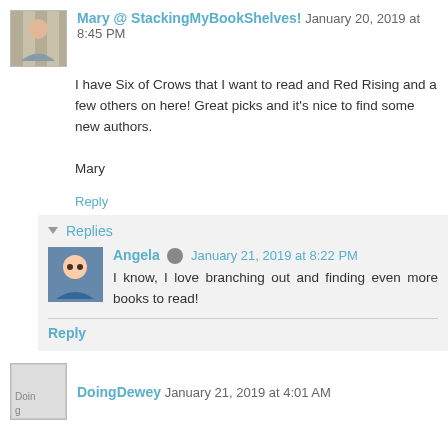Mary @ StackingMyBookShelves! January 20, 2019 at 8:45 PM
I have Six of Crows that I want to read and Red Rising and a few others on here! Great picks and it's nice to find some new authors.

Mary
Reply
▾ Replies
Angela  January 21, 2019 at 8:22 PM
I know, I love branching out and finding even more books to read!
Reply
DoingDewey January 21, 2019 at 4:01 AM